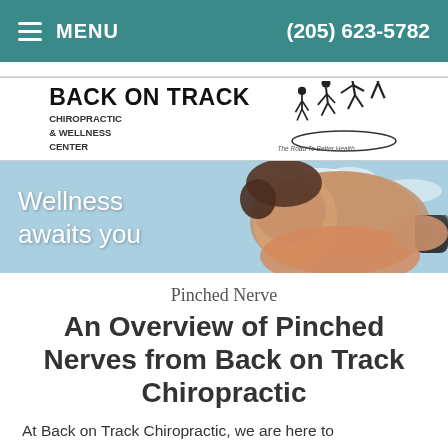≡ MENU   (205) 623-5782
[Figure (logo): Back on Track Chiropractic & Wellness Center logo with running figures silhouette and text 'The Road To Better Health']
[Figure (photo): Hero banner with woman exercising outdoors, text overlay: 'Wellness awaits you']
Pinched Nerve
An Overview of Pinched Nerves from Back on Track Chiropractic
At Back on Track Chiropractic, we are here to